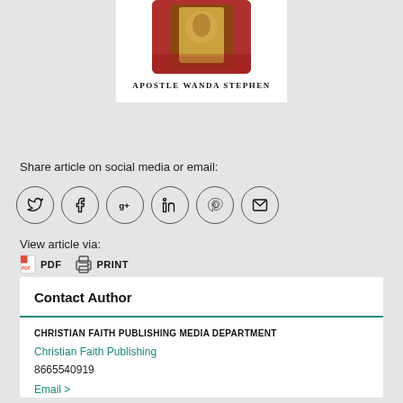[Figure (photo): Book cover photo with warm tones showing a figure, author name 'Apostle Wanda Stephen' below]
Apostle Wanda Stephen
Share article on social media or email:
[Figure (infographic): Six social media icon circles: Twitter, Facebook, Google+, LinkedIn, Pinterest, Email]
View article via:
PDF  PRINT
Contact Author
CHRISTIAN FAITH PUBLISHING MEDIA DEPARTMENT
Christian Faith Publishing
8665540919
Email >